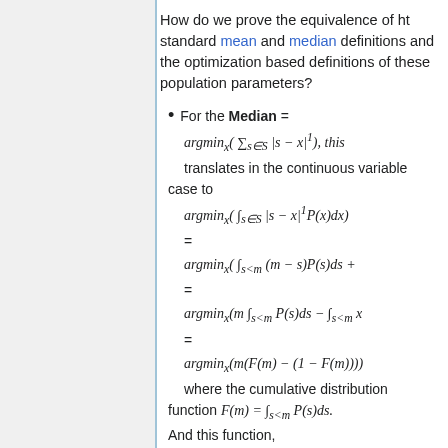How do we prove the equivalence of ht standard mean and median definitions and the optimization based definitions of these population parameters?
For the Median = argmin_x( sum_{s in S} |s - x|^1 ), this translates in the continuous variable case to argmin_x( integral_{s in S} |s - x|^1 P(x)dx ) = argmin_x( integral_{s<m} (m-s)P(s)ds + ... ) = argmin_x(m integral_{s<m} P(s)ds - integral_{s<m} x...) = argmin_x(m(F(m) - (1-F(m)))) where the cumulative distribution function F(m) = integral_{s<m} P(s)ds. And this function, m(2F(m)-1) + integral_{s>m} sP(s)ds - ...